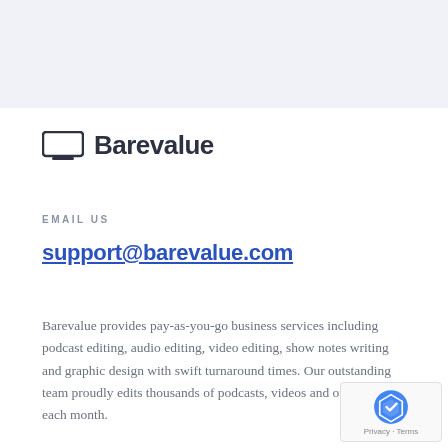[Figure (logo): Barevalue logo with laptop/screen icon and wordmark 'Barevalue' in dark bold text]
EMAIL US
support@barevalue.com
Barevalue provides pay-as-you-go business services including podcast editing, audio editing, video editing, show notes writing and graphic design with swift turnaround times. Our outstanding team proudly edits thousands of podcasts, videos and other media each month.